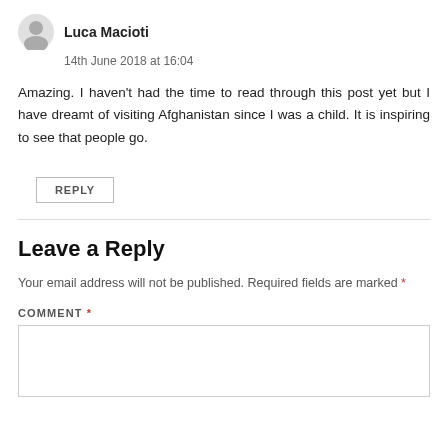Luca Macioti
14th June 2018 at 16:04
Amazing. I haven't had the time to read through this post yet but I have dreamt of visiting Afghanistan since I was a child. It is inspiring to see that people go.
REPLY
Leave a Reply
Your email address will not be published. Required fields are marked *
COMMENT *